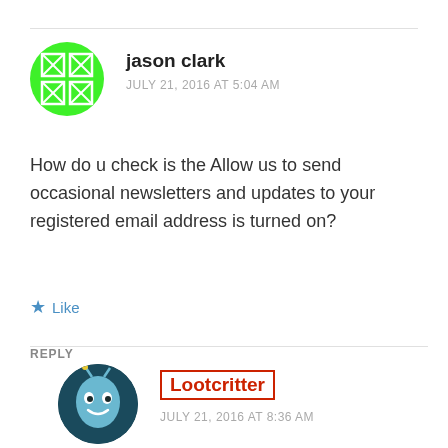[Figure (illustration): Green circular avatar with a white decorative diamond/cross pattern, for user jason clark]
jason clark
JULY 21, 2016 AT 5:04 AM
How do u check is the Allow us to send occasional newsletters and updates to your registered email address is turned on?
★ Like
REPLY
[Figure (illustration): Dark teal circular avatar with a cartoon alien/slug character, for user Lootcritter]
Lootcritter
JULY 21, 2016 AT 8:36 AM